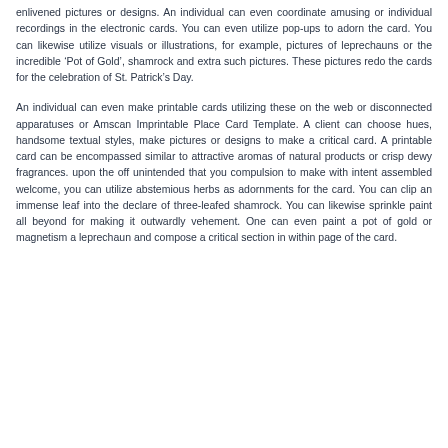enlivened pictures or designs. An individual can even coordinate amusing or individual recordings in the electronic cards. You can even utilize pop-ups to adorn the card. You can likewise utilize visuals or illustrations, for example, pictures of leprechauns or the incredible ‘Pot of Gold’, shamrock and extra such pictures. These pictures redo the cards for the celebration of St. Patrick’s Day.
An individual can even make printable cards utilizing these on the web or disconnected apparatuses or Amscan Imprintable Place Card Template. A client can choose hues, handsome textual styles, make pictures or designs to make a critical card. A printable card can be encompassed similar to attractive aromas of natural products or crisp dewy fragrances. upon the off unintended that you compulsion to make with intent assembled welcome, you can utilize abstemious herbs as adornments for the card. You can clip an immense leaf into the declare of three-leafed shamrock. You can likewise sprinkle paint all beyond for making it outwardly vehement. One can even paint a pot of gold or magnetism a leprechaun and compose a critical section in within page of the card.